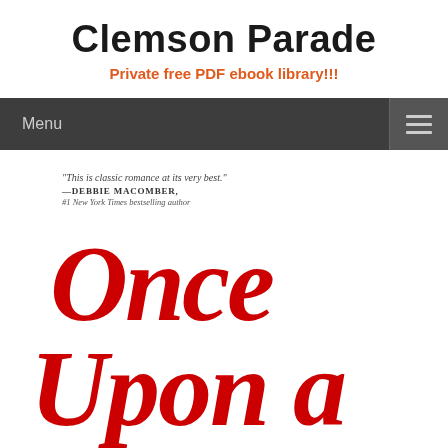Clemson Parade
Private free PDF ebook library!!!
Menu
[Figure (illustration): Partial book cover showing red cursive text 'Once Upon a' with a quote at top: 'This is classic romance at its very best.' —DEBBIE MACOMBER, #1 New York Times bestselling author]